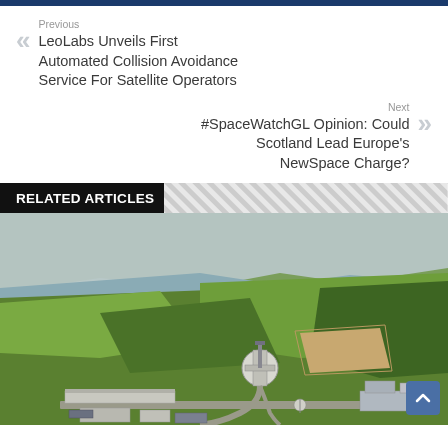Previous
LeoLabs Unveils First Automated Collision Avoidance Service For Satellite Operators
Next
#SpaceWatchGL Opinion: Could Scotland Lead Europe's NewSpace Charge?
RELATED ARTICLES
[Figure (photo): Aerial photograph of a spaceport or launch facility set in green hilly terrain near a coastline, showing launch pads, access roads, and support buildings.]